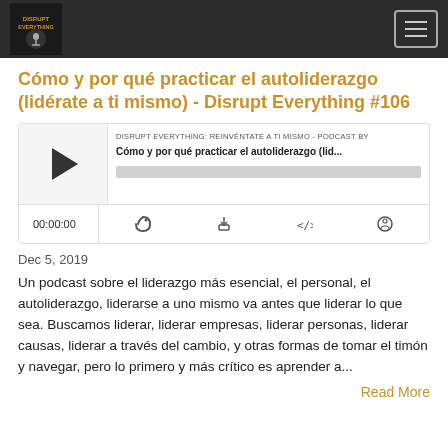Disrupt Everything - Header navigation bar with logo and menu button
Cómo y por qué practicar el autoliderazgo (lidérate a ti mismo) - Disrupt Everything #106
[Figure (other): Podcast audio player widget showing episode 'Cómo y por qué practicar el autoliderazgo (lid...' from DISRUPT EVERYTHING: REINVÉNTATE A TI MISMO podcast, with play button, progress bar, timer showing 00:00:00, and control icons for subscribe, download, embed, and share]
Dec 5, 2019
Un podcast sobre el liderazgo más esencial, el personal, el autoliderazgo, liderarse a uno mismo va antes que liderar lo que sea. Buscamos liderar, liderar empresas, liderar personas, liderar causas, liderar a través del cambio, y otras formas de tomar el timón y navegar, pero lo primero y más crítico es aprender a...
Read More